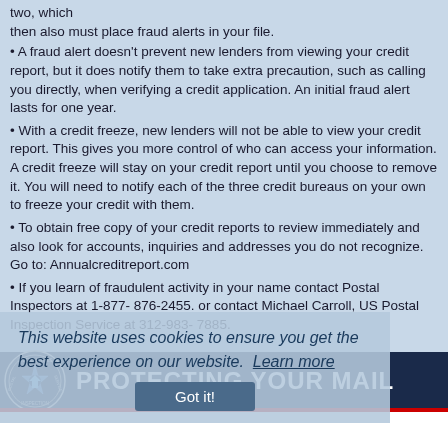two, which
then also must place fraud alerts in your file.
• A fraud alert doesn't prevent new lenders from viewing your credit report, but it does notify them to take extra precaution, such as calling you directly, when verifying a credit application. An initial fraud alert lasts for one year.
• With a credit freeze, new lenders will not be able to view your credit report. This gives you more control of who can access your information. A credit freeze will stay on your credit report until you choose to remove it. You will need to notify each of the three credit bureaus on your own to freeze your credit with them.
• To obtain free copy of your credit reports to review immediately and also look for accounts, inquiries and addresses you do not recognize. Go to: Annualcreditreport.com
• If you learn of fraudulent activity in your name contact Postal Inspectors at 1-877- 876-2455. or contact Michael Carroll, US Postal Inspection Service at 312-983- 7885.
This website uses cookies to ensure you get the best experience on our website. Learn more
[Figure (logo): USPS Postal Inspection Service banner with seal and text PROTECTING YOUR MAIL]
Neighborhood Watch